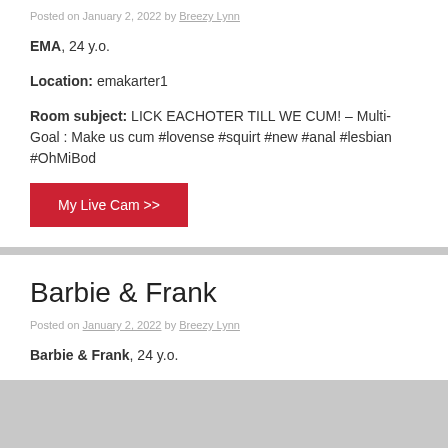Posted on January 2, 2022 by Breezy Lynn
EMA, 24 y.o.
Location: emakarter1
Room subject: LICK EACHOTER TILL WE CUM! – Multi-Goal : Make us cum #lovense #squirt #new #anal #lesbian #OhMiBod
My Live Cam >>
Barbie & Frank
Posted on January 2, 2022 by Breezy Lynn
Barbie & Frank, 24 y.o.